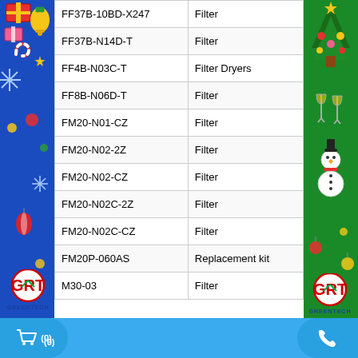[Figure (illustration): Blue Christmas banner on left with decorations (gifts, bells, candy cane, snowflake) and 'Merry Christmas' text at bottom]
[Figure (illustration): Green Christmas banner on right with decorations (Christmas tree, snowman, ornaments) and 'Happy New Year' text at bottom]
| Model | Type |
| --- | --- |
| FF37B-10BD-X247 | Filter |
| FF37B-N14D-T | Filter |
| FF4B-N03C-T | Filter Dryers |
| FF8B-N06D-T | Filter |
| FM20-N01-CZ | Filter |
| FM20-N02-2Z | Filter |
| FM20-N02-CZ | Filter |
| FM20-N02C-2Z | Filter |
| FM20-N02C-CZ | Filter |
| FM20P-060AS | Replacement kit |
| M30-03 | Filter |
TECHNICAL SUPPORT
MR. NHÂN
0935 041313
[Figure (logo): GRT Greentech logo on left side]
SALE SUPPORT
sales@greentechvn.com
[Figure (logo): GRT Greentech logo on right side]
[Figure (other): Bottom bar with shopping cart button showing (0) and phone call button]
(0)